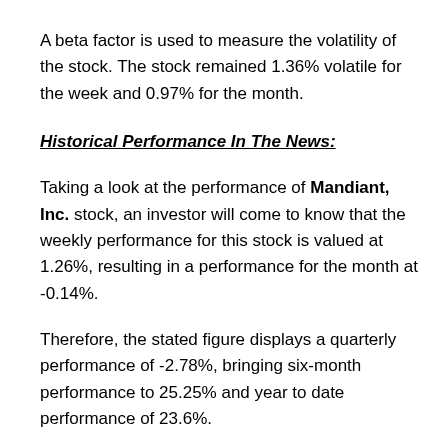A beta factor is used to measure the volatility of the stock. The stock remained 1.36% volatile for the week and 0.97% for the month.
Historical Performance In The News:
Taking a look at the performance of Mandiant, Inc. stock, an investor will come to know that the weekly performance for this stock is valued at 1.26%, resulting in a performance for the month at -0.14%.
Therefore, the stated figure displays a quarterly performance of -2.78%, bringing six-month performance to 25.25% and year to date performance of 23.6%.
P/S, P/E, P/C and P/B/ SMA50, SMA 200: